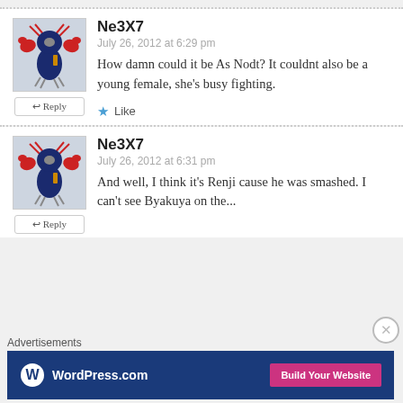[Figure (illustration): Avatar icon of a cartoon crab-bird character on light blue background]
Ne3X7
July 26, 2012 at 6:29 pm
How damn could it be As Nodt? It couldnt also be a young female, she’s busy fighting.
★ Like
[Figure (illustration): Avatar icon of a cartoon crab-bird character on light blue background]
Ne3X7
July 26, 2012 at 6:31 pm
And well, I think it’s Renji cause he was smashed. I can’t see Byakuya on the...
Advertisements
[Figure (logo): WordPress.com banner ad with Build Your Website button]